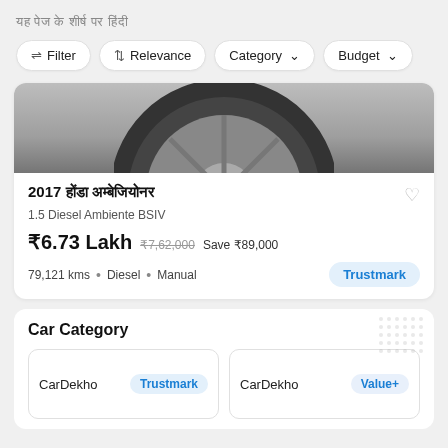यह पेज के शीर्ष पर हिंदी
Filter | Relevance | Category | Budget
[Figure (photo): Partial view of a car wheel/tire from below]
2017 होंडा अम्बेजियोनर
1.5 Diesel Ambiente BSIV
₹6.73 Lakh  ₹7,62,000  Save ₹89,000
79,121 kms  •  Diesel  •  Manual
Car Category
CarDekho  Trustmark
CarDekho  Value+